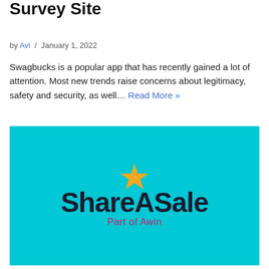Survey Site
by Avi / January 1, 2022
Swagbucks is a popular app that has recently gained a lot of attention. Most new trends raise concerns about legitimacy, safety and security, as well… Read More »
[Figure (logo): ShareASale logo — dark text 'ShareASale' with an orange star above the 'A', subtitle 'Part of Awin', on a cyan/turquoise background]